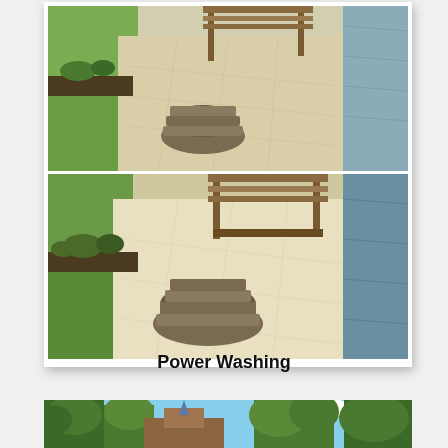[Figure (photo): Two before-and-after photos of a concrete patio area near a waterfront. Top photo shows a stone fire pit ring on a patterned concrete patio with wooden pergola structure and green lawn to the left, water to the right. Bottom photo is the same scene after power washing — the concrete appears cleaner and brighter.]
Power Washing
[Figure (photo): Partial view of a wooded outdoor scene with trees and what appears to be a building structure, showing a before or after scenario.]